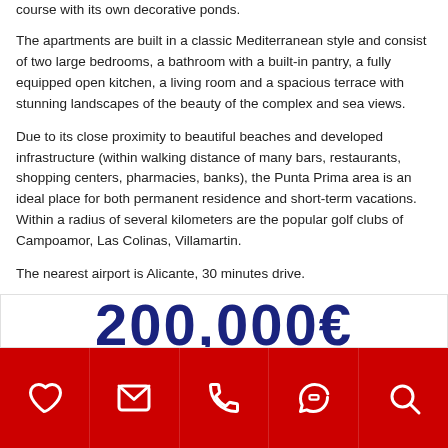course with its own decorative ponds.
The apartments are built in a classic Mediterranean style and consist of two large bedrooms, a bathroom with a built-in pantry, a fully equipped open kitchen, a living room and a spacious terrace with stunning landscapes of the beauty of the complex and sea views.
Due to its close proximity to beautiful beaches and developed infrastructure (within walking distance of many bars, restaurants, shopping centers, pharmacies, banks), the Punta Prima area is an ideal place for both permanent residence and short-term vacations. Within a radius of several kilometers are the popular golf clubs of Campoamor, Las Colinas, Villamartin.
The nearest airport is Alicante, 30 minutes drive.
200,000€
[Figure (other): Bottom navigation bar with red background containing 5 icons: heart (favorite), envelope (email), phone, WhatsApp, search]